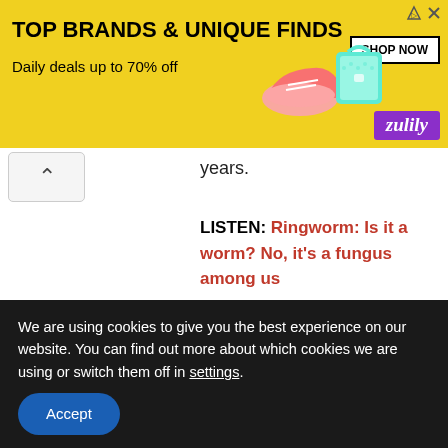[Figure (other): Zulily advertisement banner: TOP BRANDS & UNIQUE FINDS, Daily deals up to 70% off. Features shoe and bag images, SHOP NOW button, and Zulily logo on purple background.]
years.
LISTEN: Ringworm: Is it a worm? No, it's a fungus among us
Related:
Syphilis cases top 5500 in Japan
Japan reports record number of invasive group A streptococcal disease in 2017
Japan: E. coli outbreak results in child's...
We are using cookies to give you the best experience on our website. You can find out more about which cookies we are using or switch them off in settings.